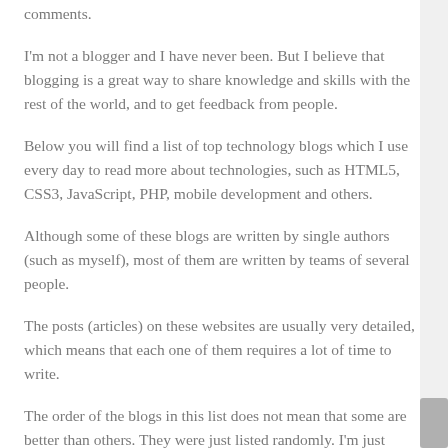comments.
I'm not a blogger and I have never been. But I believe that blogging is a great way to share knowledge and skills with the rest of the world, and to get feedback from people.
Below you will find a list of top technology blogs which I use every day to read more about technologies, such as HTML5, CSS3, JavaScript, PHP, mobile development and others.
Although some of these blogs are written by single authors (such as myself), most of them are written by teams of several people.
The posts (articles) on these websites are usually very detailed, which means that each one of them requires a lot of time to write.
The order of the blogs in this list does not mean that some are better than others. They were just listed randomly. I'm just trying